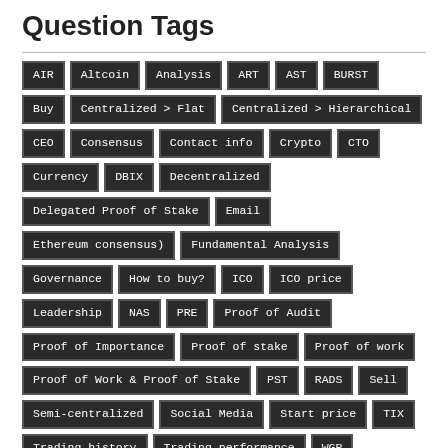Question Tags
AIR
Altcoin
Analysis
ART
AST
BURST
Buy
Centralized > Flat
Centralized > Hierarchical
CEO
Consensus
Contact info
Crypto
CTO
Currency
DBIX
Decentralized
Delegated Proof of Stake
Email
Ethereum consensus)
Fundamental Analysis
Governance
How to buy?
ICO
ICO price
Leadership
NAS
PRE
Proof of Audit
Proof of Importance
Proof of stake
Proof of work
Proof of Work & Proof of Stake
PST
RADS
Sell
Semi-centralized
Social Media
Start price
TIX
Trading history
Trading performance
WGR
What is?
will be proof of stake later on)
Another Category